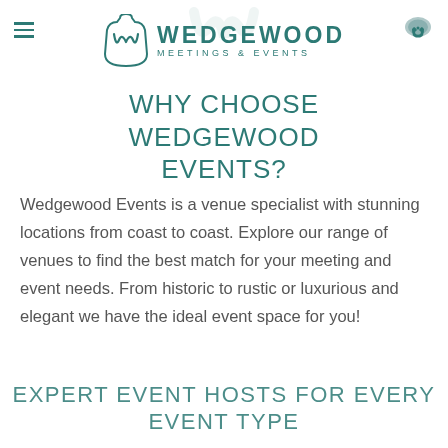[Figure (logo): Wedgewood Meetings & Events logo with a stylized W emblem and hamburger menu icon on left, phone icon on right]
WHY CHOOSE WEDGEWOOD EVENTS?
Wedgewood Events is a venue specialist with stunning locations from coast to coast. Explore our range of venues to find the best match for your meeting and event needs. From historic to rustic or luxurious and elegant we have the ideal event space for you!
EXPERT EVENT HOSTS FOR EVERY EVENT TYPE